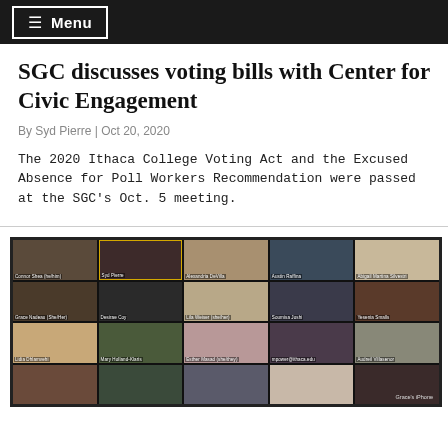≡ Menu
SGC discusses voting bills with Center for Civic Engagement
By Syd Pierre | Oct 20, 2020
The 2020 Ithaca College Voting Act and the Excused Absence for Poll Workers Recommendation were passed at the SGC's Oct. 5 meeting.
[Figure (photo): Zoom video call screenshot showing a grid of approximately 20 student participants in an SGC meeting, with name tags visible below each video tile including Connor Shea, Syd Pierre, Alexandria DeVilla, Austin Raffina, Abigail Martina Silvestri, Grace Nadeau, Desirae Coy, Lila Weiser, Soumisa Joshi, Yesenia Smalls, Lidia Dhlamvehi, Mary Holland-Klaris, Esther Masad, mpower@ithaca.edu, Audreil Villasenor, Grace's iPhone]